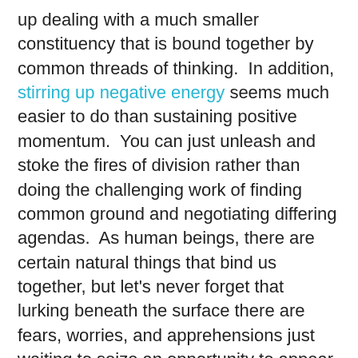up dealing with a much smaller constituency that is bound together by common threads of thinking.  In addition, stirring up negative energy seems much easier to do than sustaining positive momentum.  You can just unleash and stoke the fires of division rather than doing the challenging work of finding common ground and negotiating differing agendas.  As human beings, there are certain natural things that bind us together, but let’s never forget that lurking beneath the surface there are fears, worries, and apprehensions just waiting to seize an opportunity to appear.
Here are some common traits of “divide and conquer” leaders we should be on the lookout for and inhibit whenever possible.
They can be incredibly charming and persuasive when they need to be until you cross them.
They rationalize whatever they are doing in the service of some larger agenda which may be